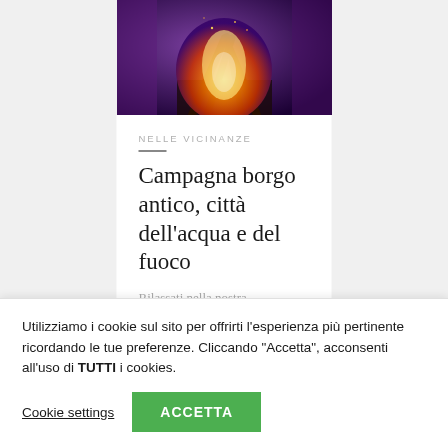[Figure (photo): A bonfire with flames and wood, purple/warm tones]
NELLE VICINANZE
Campagna borgo antico, città dell'acqua e del fuoco
Rilassati nella nostra
Utilizziamo i cookie sul sito per offrirti l'esperienza più pertinente ricordando le tue preferenze. Cliccando "Accetta", acconsenti all'uso di TUTTI i cookies.
Cookie settings
ACCETTA